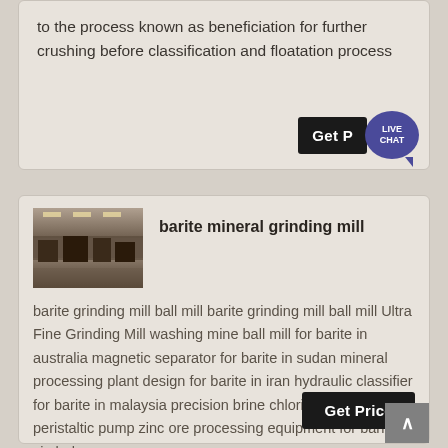to the process known as beneficiation for further crushing before classification and floatation process
[Figure (screenshot): Live Chat button with speech bubble icon showing LIVE CHAT text]
[Figure (photo): Industrial grinding mill facility interior]
barite mineral grinding mill
barite grinding mill ball mill barite grinding mill ball mill Ultra Fine Grinding Mill washing mine ball mill for barite in australia magnetic separator for barite in sudan mineral processing plant design for barite in iran hydraulic classifier for barite in malaysia precision brine chlorine dosing ph peristaltic pump zinc ore processing equipment for barite in zimbabwe